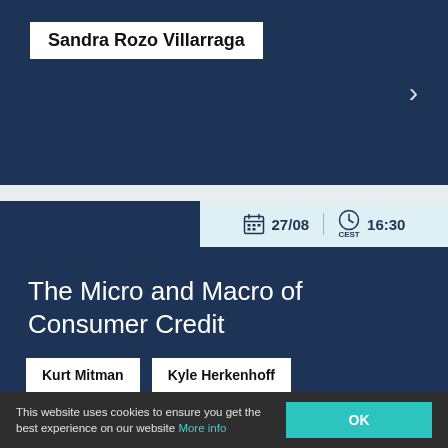Sandra Rozo Villarraga
27/08  16:30 CEST
The Micro and Macro of Consumer Credit
Kurt Mitman
Kyle Herkenhoff
Caterina Mendicino
This website uses cookies to ensure you get the best experience on our website More info